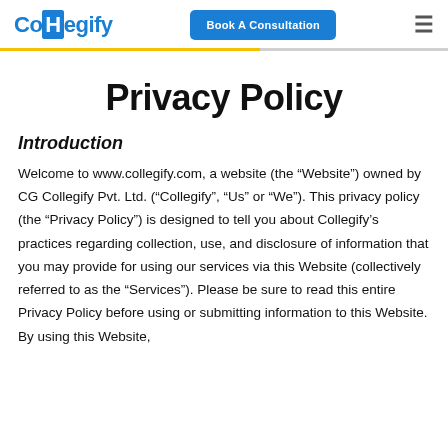Collegify | Book A Consultation
Privacy Policy
Introduction
Welcome to www.collegify.com, a website (the “Website”) owned by CG Collegify Pvt. Ltd. (“Collegify”, “Us” or “We”). This privacy policy (the “Privacy Policy”) is designed to tell you about Collegify’s practices regarding collection, use, and disclosure of information that you may provide for using our services via this Website (collectively referred to as the “Services”). Please be sure to read this entire Privacy Policy before using or submitting information to this Website. By using this Website,